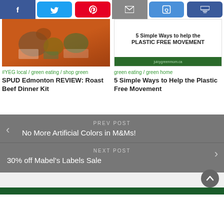[Figure (screenshot): Social share bar with Facebook, Twitter, Pinterest, Email, Quoteboard, and Crown buttons]
[Figure (photo): Left card image showing food items on orange background]
[Figure (photo): Right card image with text '5 Simple Ways to help the PLASTIC FREE MOVEMENT' on white background with green bar]
#YEG local / green eating / shop green
SPUD Edmonton REVIEW: Roast Beef Dinner Kit
green eating / green home
5 Simple Ways to Help the Plastic Free Movement
PREV POST
No More Artificial Colors in M&Ms!
NEXT POST
30% off Mabel's Labels Sale